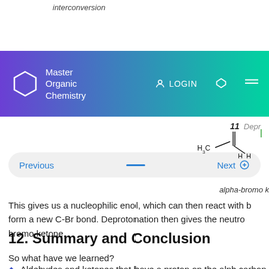interconversion
Bromination of enol
[Figure (screenshot): Master Organic Chemistry website navigation bar with gradient background from purple to teal, showing hexagon logo, LOGIN button, search icon, and menu icon]
[Figure (engineering-diagram): Partial navigation UI strip with page number 11 and 'Dep' text clipped]
[Figure (other): Previous / Next navigation bar with blue text and dashed line]
[Figure (chemistry-diagram): Partial chemical structure showing H3C group with double bond, alpha-bromo ketone label partially visible]
This gives us a nucleophilic enol, which can then react with b form a new C-Br bond. Deprotonation then gives the neutro bromo ketone.
12. Summary and Conclusion
So what have we learned?
Aldehydes and ketones that have a proton on the alph carbon can participate in keto-enol tautomerism, whe